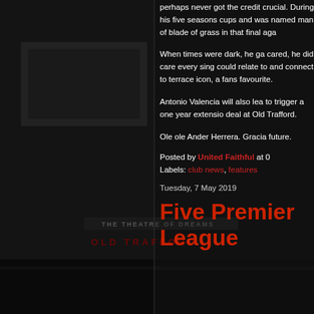perhaps never got the credit crucial. During his five seasons cups and was named man of blade of grass in that final aga
When times were dark, he ga cared, he did care every sing could relate to and connect to terrace icon, a fans favourite.
Antonio Valencia will also lea to trigger a one year extensio deal at Old Trafford.
Ole ole Ander Herrera. Gracia future.
Posted by United Faithful at 0
Labels: club news, features
Tuesday, 7 May 2019
Five Premier League